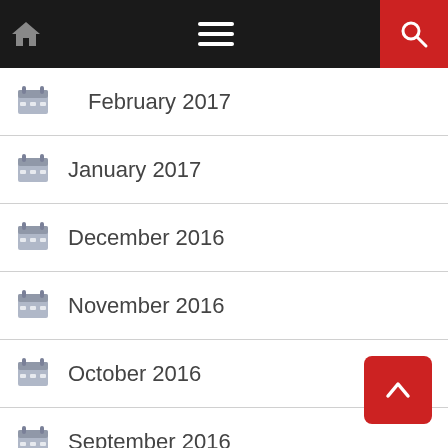Navigation bar with home, menu, and search icons
February 2017
January 2017
December 2016
November 2016
October 2016
September 2016
August 2016
July 2016
June 2016
May 2016